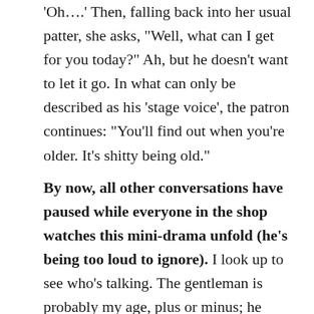'Oh….' Then, falling back into her usual patter, she asks, 'Well, what can I get for you today?' Ah, but he doesn't want to let it go. In what can only be described as his 'stage voice', the patron continues: 'You'll find out when you're older. It's shitty being old.' By now, all other conversations have paused while everyone in the shop watches this mini-drama unfold (he's being too loud to ignore). I look up to see who's talking. The gentleman is probably my age, plus or minus; he sports grey hair around the temples and a bit of a paunch. He seems to be walking fine, all his limbs work, he has a nearly full head of hair, and apparently he has enough discretionary cash to afford a large mocha cinnamon latte thingy.